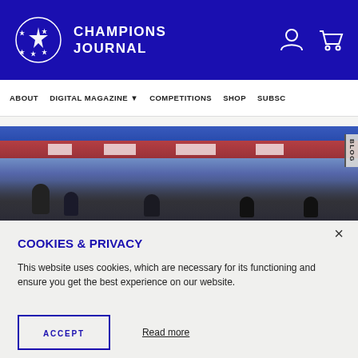CHAMPIONS JOURNAL
ABOUT  DIGITAL MAGAZINE  COMPETITIONS  SHOP  SUBSC
[Figure (photo): Football stadium scene with players on field, crowd in background with blue and red stands]
COOKIES & PRIVACY
This website uses cookies, which are necessary for its functioning and ensure you get the best experience on our website.
ACCEPT   Read more